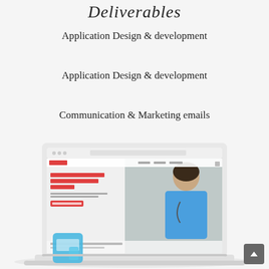Deliverables
Application Design & development
Application Design & development
Communication & Marketing emails
[Figure (screenshot): Laptop mockup showing a healthcare staffing website with a nurse in blue scrubs, headline 'Flexible shifts for CNAs, LPNs, and RNs', red call-to-action button, and a mobile app card at the bottom left.]